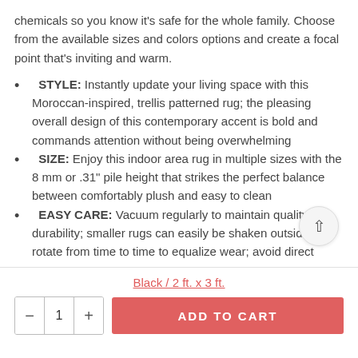chemicals so you know it's safe for the whole family. Choose from the available sizes and colors options and create a focal point that's inviting and warm.
STYLE: Instantly update your living space with this Moroccan-inspired, trellis patterned rug; the pleasing overall design of this contemporary accent is bold and commands attention without being overwhelming
SIZE: Enjoy this indoor area rug in multiple sizes with the 8 mm or .31" pile height that strikes the perfect balance between comfortably plush and easy to clean
EASY CARE: Vacuum regularly to maintain quality and durability; smaller rugs can easily be shaken outside; rotate from time to time to equalize wear; avoid direct
Black / 2 ft. x 3 ft.
ADD TO CART